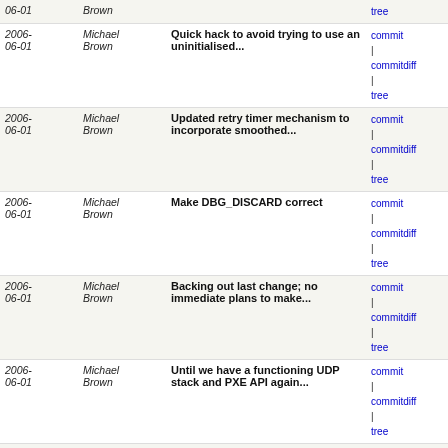| Date | Author | Commit message | Links |
| --- | --- | --- | --- |
| 2006-06-01 | Michael Brown | Quick hack to avoid trying to use an uninitialised... | commit | commitdiff | tree |
| 2006-06-01 | Michael Brown | Updated retry timer mechanism to incorporate smoothed... | commit | commitdiff | tree |
| 2006-06-01 | Michael Brown | Make DBG_DISCARD correct | commit | commitdiff | tree |
| 2006-06-01 | Michael Brown | Backing out last change; no immediate plans to make... | commit | commitdiff | tree |
| 2006-06-01 | Michael Brown | Until we have a functioning UDP stack and PXE API again... | commit | commitdiff | tree |
| 2006-06-01 | Michael Brown | Added sample AoE test code to tree | commit | commitdiff | tree |
| 2006-05-31 | Michael Brown | Put in a method to get the MAC address for the AoE... | commit | commitdiff | tree |
| 2006-05-31 | Michael Brown | ATA devices are now asynchronous. The ATA layer itself... | commit | commitdiff | tree |
| 2006-05-31 | Michael Brown | Missing from previous checkin. | commit | commitdiff | tree |
| 2006-05-31 | Michael Brown | Added generic asynchronous operations code. | commit | commitdiff | tree |
| 2006-05-31 | Michael Brown | Added drivers/ata directory (forgot to check this in... | commit | commitdiff | tree |
| 2006-05-29 | Michael Brown | One bit of an ASCII character can make a big difference. | commit | commitdiff | tree |
| 2006- | Michael | Added first sketch of a generic | commit | |